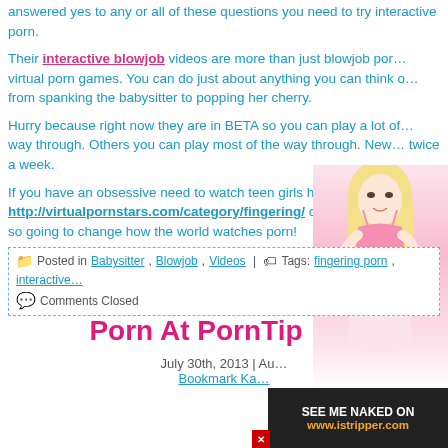answered yes to any or all of these questions you need to try interactive porn.
Their interactive blowjob videos are more than just blowjob porn virtual porn games. You can do just about anything you can think of from spanking the babysitter to popping her cherry.
Hurry because right now they are in BETA so you can play a lot of way through. Others you can play most of the way through. New twice a week.
If you have an obsessive need to watch teen girls having sex w http://virtualpornstars.com/category/fingering/ category is pref so going to change how the world watches porn!
Posted in Babysitter, Blowjob, Videos | Tags: fingering porn, interactive
Comments Closed
Receive Huge Discounts Ba Porn At PornTip m
July 30th, 2013 | Au Bookmark Ka
[Figure (photo): Blonde woman in pink lingerie with istripper.com advertisement overlay]